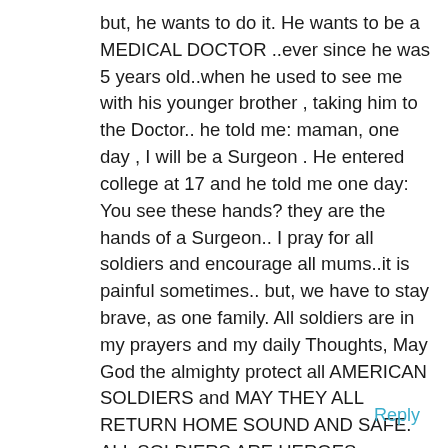but, he wants to do it. He wants to be a MEDICAL DOCTOR ..ever since he was 5 years old..when he used to see me with his younger brother , taking him to the Doctor.. he told me: maman, one day , I will be a Surgeon . He entered college at 17 and he told me one day: You see these hands? they are the hands of a Surgeon.. I pray for all soldiers and encourage all mums..it is painful sometimes.. but, we have to stay brave, as one family. All soldiers are in my prayers and my daily Thoughts, May God the almighty protect all AMERICAN SOLDIERS and MAY THEY ALL RETURN HOME SOUND AND SAFE. ALL SOLDIERS ARE HEROES, REGARDLESS THEIR RANKS, SKIN COLOR, ORIGINS. THEY ARE ALL ONE FAMILY. MY PRAYERS ARE WITH ALL. MY FATHER WAS IN THE ARMY AND FOUGHT IN WAR WORLD 2.
Reply